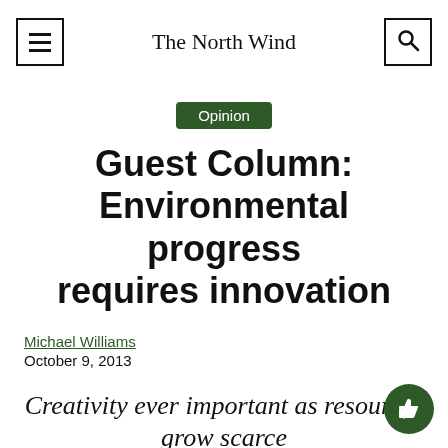The North Wind
Opinion
Guest Column: Environmental progress requires innovation
Michael Williams
October 9, 2013
Creativity ever important as resources grow scarce